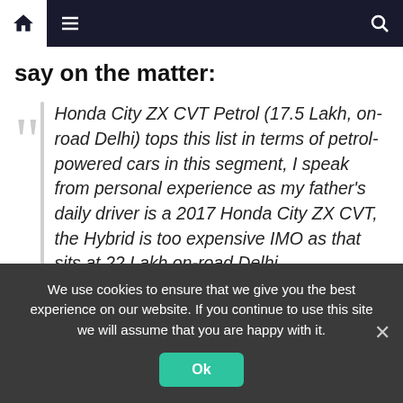Navigation bar with home, menu, and search icons
say on the matter:
Honda City ZX CVT Petrol (17.5 Lakh, on-road Delhi) tops this list in terms of petrol-powered cars in this segment, I speak from personal experience as my father's daily driver is a 2017 Honda City ZX CVT, the Hybrid is too expensive IMO as that sits at 22 Lakh on-road Delhi.

I'd avoid the Hyundai Verna DCT and Virtus/Slavia as they use a DCT, which
We use cookies to ensure that we give you the best experience on our website. If you continue to use this site we will assume that you are happy with it.